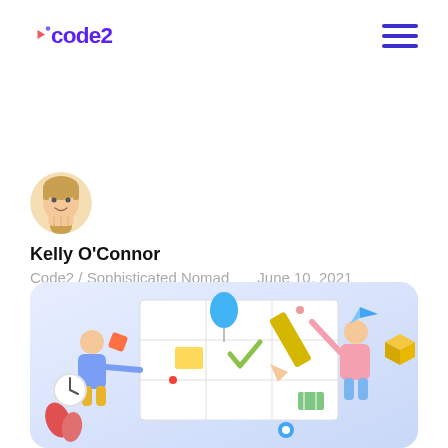code2
[Figure (illustration): Avatar emoji of a young man with blond hair making a fist gesture]
Kelly O'Connor
Code2 / Sophisticated Nomad    June 10, 2021
[Figure (illustration): Colorful illustration showing two cartoon characters (one in blue, one in pink) working with a large grid/planning board, surrounded by a balloon, clock, pencil, maps, and various icons on a light blue gradient background]